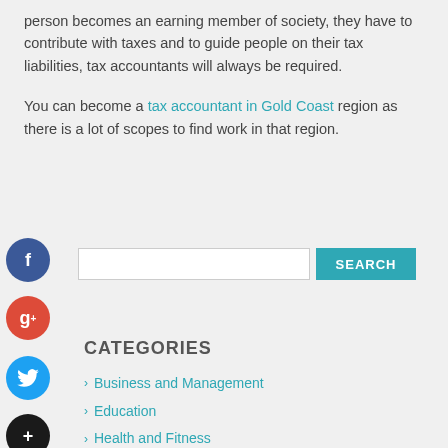person becomes an earning member of society, they have to contribute with taxes and to guide people on their tax liabilities, tax accountants will always be required.
You can become a tax accountant in Gold Coast region as there is a lot of scopes to find work in that region.
CATEGORIES
Business and Management
Education
Health and Fitness
History